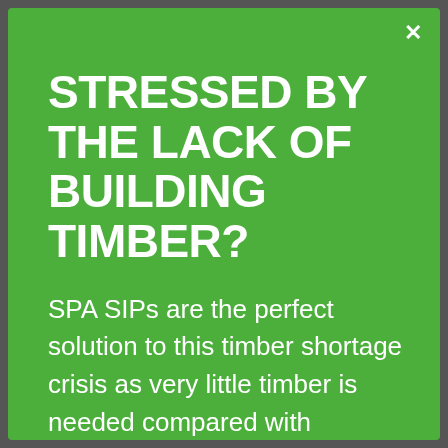STRESSED BY THE LACK OF BUILDING TIMBER?
SPA SIPs are the perfect solution to this timber shortage crisis as very little timber is needed compared with standard timber framed houses.